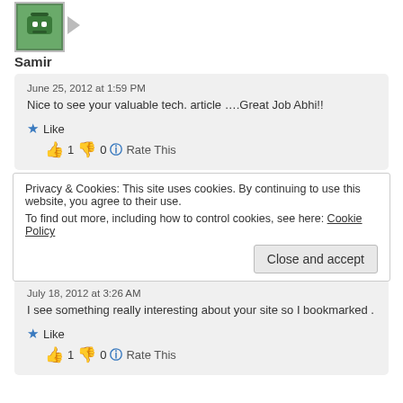[Figure (photo): Avatar image of user Samir - green icon with figure]
Samir
June 25, 2012 at 1:59 PM
Nice to see your valuable tech. article ….Great Job Abhi!!
👍 1 👎 0 ℹ Rate This
[Figure (photo): Avatar image of user green tea kidneys - pink cartoon face]
green tea kidneys
July 18, 2012 at 3:26 AM
I see something really interesting about your site so I bookmarked .
👍 1 👎 0 ℹ Rate This
Privacy & Cookies: This site uses cookies. By continuing to use this website, you agree to their use.
To find out more, including how to control cookies, see here: Cookie Policy
Close and accept